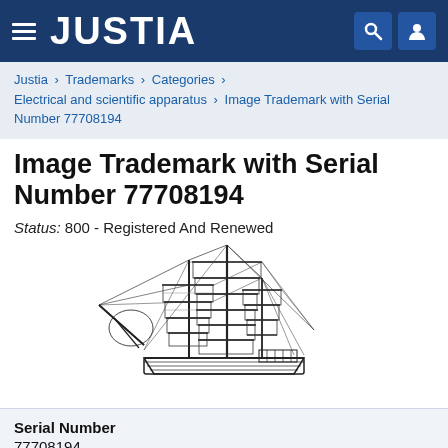JUSTIA
Justia › Trademarks › Categories › Electrical and scientific apparatus › Image Trademark with Serial Number 77708194
Image Trademark with Serial Number 77708194
Status: 800 - Registered And Renewed
[Figure (illustration): Line drawing of a tall sailing ship with multiple masts, sails, and rigging ropes. Black and white illustration resembling a trademark image.]
Serial Number
77708194